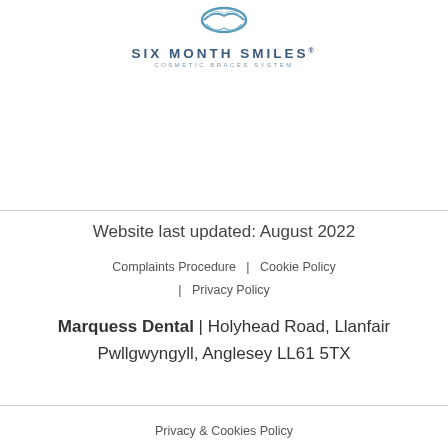[Figure (logo): Six Month Smiles logo with tooth/wave graphic, text: SIX MONTH SMILES Cosmetic Braces System]
Website last updated: August 2022
Complaints Procedure  |  Cookie Policy  |  Privacy Policy
Marquess Dental | Holyhead Road, Llanfair Pwllgwyngyll, Anglesey LL61 5TX
Privacy & Cookies Policy